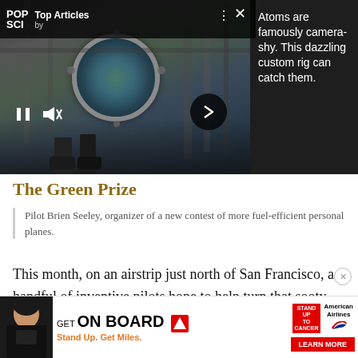[Figure (photo): Laboratory equipment with circular viewport/lens, dark background, person visible at bottom. Top Articles panel overlay from Popular Science magazine.]
Atoms are famously camera-shy. This dazzling custom rig can catch them.
The Green Prize
Pilot Brien Seeley, organizer of a new contest of more fuel-efficient personal planes.
This month, on an airstrip just north of San Francisco, a handful of inventive pilots hope to help turn that sooty reputation around, as they compete in the nation… reen Prize.
[Figure (photo): Advertisement: American Airlines GET ON BOARD Stand Up To Cancer campaign. GET ON BOARD / Stand Up. Get Miles. / LEARN MORE button.]